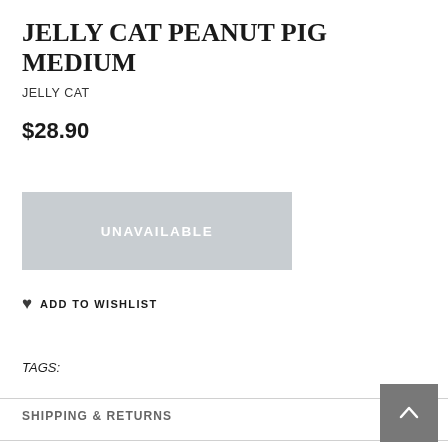JELLY CAT PEANUT PIG MEDIUM
JELLY CAT
$28.90
UNAVAILABLE
ADD TO WISHLIST
TAGS:
SHIPPING & RETURNS